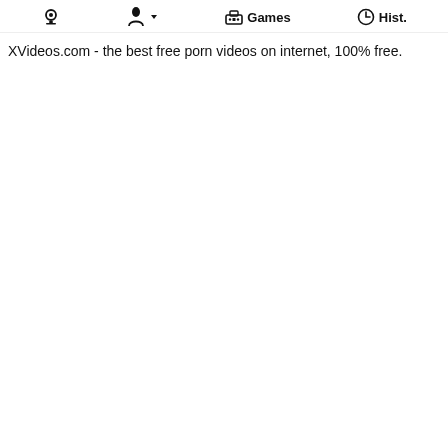🎥  👤 ▾  🎮 Games  🕐 Hist.
XVideos.com - the best free porn videos on internet, 100% free.